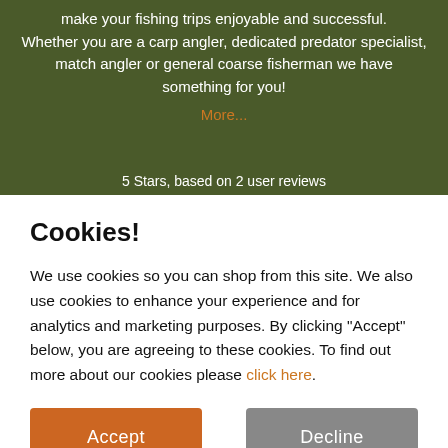make your fishing trips enjoyable and successful. Whether you are a carp angler, dedicated predator specialist, match angler or general coarse fisherman we have something for you!
More...
5 Stars, based on 2 user reviews
Cookies!
We use cookies so you can shop from this site. We also use cookies to enhance your experience and for analytics and marketing purposes. By clicking "Accept" below, you are agreeing to these cookies. To find out more about our cookies please click here.